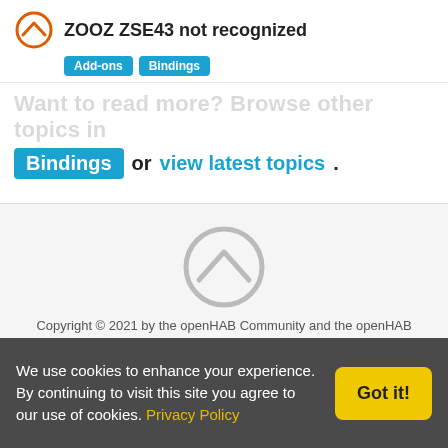ZOOZ ZSE43 not recognized
Add-ons  Bindings
Want to read more? Browse other topics in
Bindings or view latest topics.
[Figure (logo): openHAB logo - gray circle with chevron]
Copyright © 2021 by the openHAB Community and the openHAB Foundation e.V.
Privacy policy | Imprint
[Figure (illustration): Social media icons: Twitter, email/newsletter, YouTube]
We use cookies to enhance your experience. By continuing to visit this site you agree to our use of cookies. Privacy Policy  Got it!